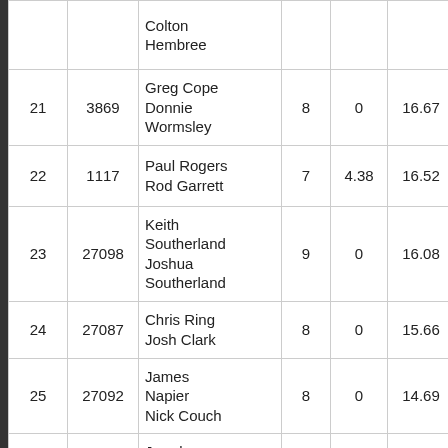| # | ID | Names | Rounds | Col5 | Score | Col7 |  |
| --- | --- | --- | --- | --- | --- | --- | --- |
|  |  | Colton Hembree |  |  |  |  |  |
| 21 | 3869 | Greg Cope
Donnie Wormsley | 8 | 0 | 16.67 | 0 |  |
| 22 | 1117 | Paul Rogers
Rod Garrett | 7 | 4.38 | 16.52 | 0 |  |
| 23 | 27098 | Keith Southerland
Joshua Southerland | 9 | 0 | 16.08 | 0 |  |
| 24 | 27087 | Chris Ring
Josh Clark | 8 | 0 | 15.66 | 0 |  |
| 25 | 27092 | James Napier
Nick Couch | 8 | 0 | 14.69 | 0 |  |
| 26 | 21482 | Jared Elmora | 7 | 0 | 14.43 | 0 |  |